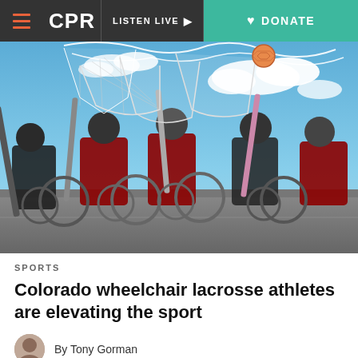CPR | LISTEN LIVE | DONATE
[Figure (photo): Wheelchair lacrosse players on an outdoor court under a blue sky, photographed from a low angle. Players in red and black uniforms hold lacrosse sticks with nets, and a ball is visible in the air above the tangled nets. Players are seated in sport wheelchairs.]
SPORTS
Colorado wheelchair lacrosse athletes are elevating the sport
By Tony Gorman